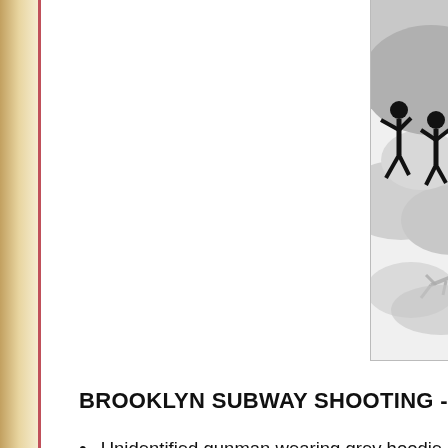[Figure (illustration): Infographic illustration showing stick figures in a subway shooting scenario: figures fleeing, one figure on the ground, smoke/gas clouds depicted in grey tones on a white/grey background.]
BROOKLYN SUBWAY SHOOTING - WHAT W
Unidentified gunman wearing grey hoodie... northbound N train at 8.24am
The suspect put on a gas mask then deto... firing the first shots
Panicked commuters tried to flee into the... were trapped until the train reached 36th
The gunman somehow vanished in the ch...